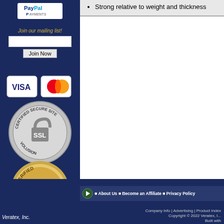[Figure (logo): PayPal Payments logo in left sidebar]
Join our mailing list!
[Figure (screenshot): Email input field and Join Now button]
[Figure (logo): Visa and Mastercard payment logos]
[Figure (logo): Certified Secure Site SSL Volusion badge]
[Figure (logo): Verified Volusion Merchant badge]
Strong relative to weight and thickness
About Us · Become an Affiliate · Privacy Policy · Company Info | Advertising | Product Index Copyright © 2022 Veratex, Inc. Built with
Veratex, Inc.